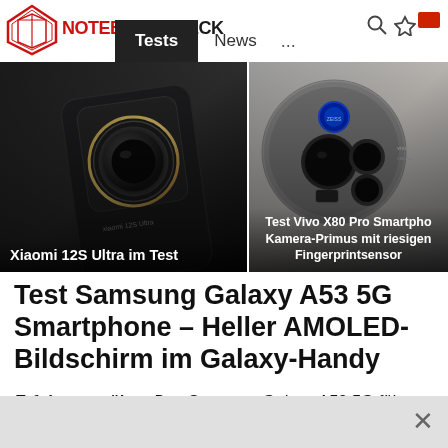NOTEBOOKCHECK - Tests | News | ...
[Figure (photo): Left panel: Xiaomi 12S Ultra smartphone showing camera module, with label 'Xiaomi 12S Ultra im Test'. Right panel: Vivo X80 Pro smartphone rear camera closeup, with label 'Test Vivo X80 Pro Smartphone – Kamera-Primus mit riesigen Fingerprintsensor'.]
Test Samsung Galaxy A53 5G Smartphone – Heller AMOLED-Bildschirm im Galaxy-Handy
Erfolgsverwöhnt. Das Samsung Galaxy A53 5G führt eine Bestseller-Reihe fort und setzt dabei auf ein komplett neues